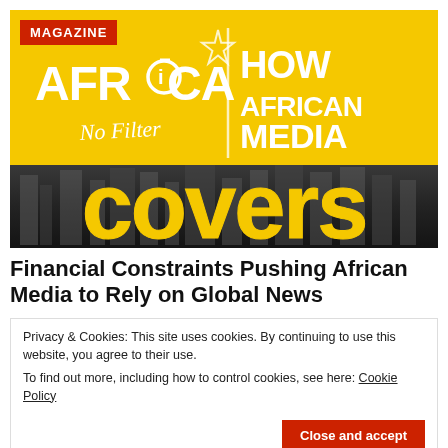[Figure (illustration): Africa No Filter magazine cover image with yellow background. Shows 'AFRICA No Filter' logo on left side, 'HOW AFRICAN MEDIA' bold white text on right, white vertical divider, word 'covers' in large letters filled with city aerial photography, red MAGAZINE tag in top-left corner.]
Financial Constraints Pushing African Media to Rely on Global News
Privacy & Cookies: This site uses cookies. By continuing to use this website, you agree to their use.
To find out more, including how to control cookies, see here: Cookie Policy
Close and accept
has [read more...]